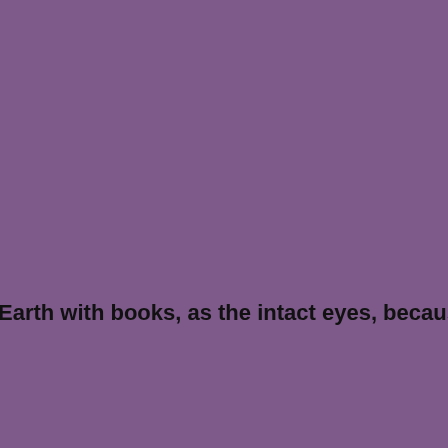Earth with books, as the intact eyes, because of their ne…